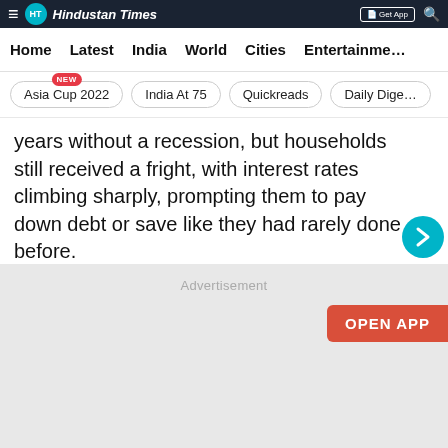Hindustan Times
Home | Latest | India | World | Cities | Entertainment
Asia Cup 2022 | India At 75 | Quickreads | Daily Digest
years without a recession, but households still received a fright, with interest rates climbing sharply, prompting them to pay down debt or save like they had rarely done before.
[Figure (other): Advertisement placeholder area (grey box)]
Advertisement
OPEN APP